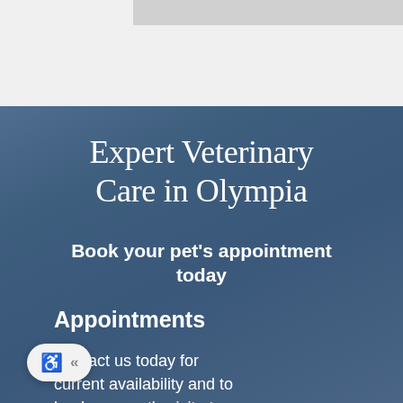[Figure (photo): Top section with light gray background and a darker gray image bar at the top]
Expert Veterinary Care in Olympia
Book your pet's appointment today
Appointments
Contact us today for current availability and to book your pet's visit at